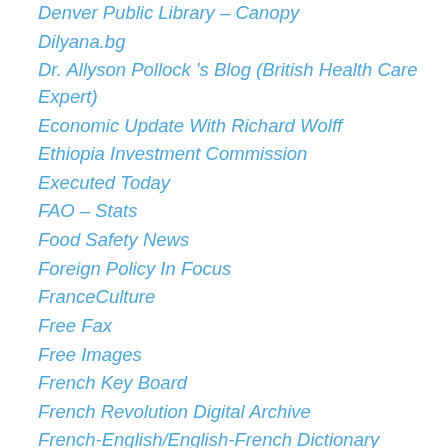Denver Public Library – Canopy
Dilyana.bg
Dr. Allyson Pollock 's Blog (British Health Care Expert)
Economic Update With Richard Wolff
Ethiopia Investment Commission
Executed Today
FAO – Stats
Food Safety News
Foreign Policy In Focus
FranceCulture
Free Fax
Free Images
French Key Board
French Revolution Digital Archive
French-English/English-French Dictionary
Friends of the Congo
Geopolitical Monitor
Global Voices
GoCaptain!
Google Translate